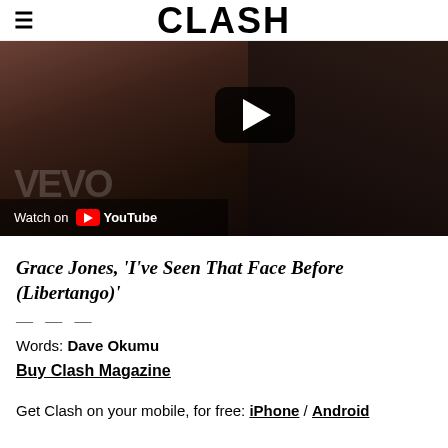CLASH
[Figure (screenshot): YouTube video thumbnail showing a person in dark clothing, with a YouTube play button overlay and 'Watch on YouTube' bar at the bottom left. Vevo watermark visible.]
Grace Jones, 'I've Seen That Face Before (Libertango)'
— — —
Words: Dave Okumu
Buy Clash Magazine
Get Clash on your mobile, for free: iPhone / Android